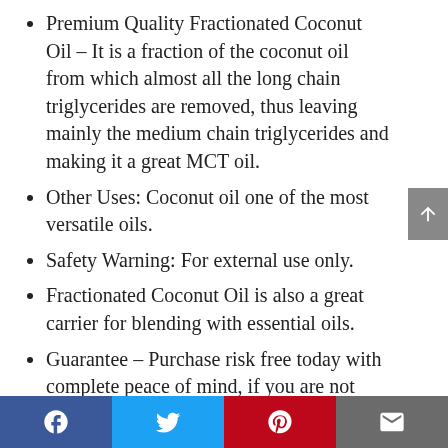Premium Quality Fractionated Coconut Oil – It is a fraction of the coconut oil from which almost all the long chain triglycerides are removed, thus leaving mainly the medium chain triglycerides and making it a great MCT oil.
Other Uses: Coconut oil one of the most versatile oils.
Safety Warning: For external use only.
Fractionated Coconut Oil is also a great carrier for blending with essential oils.
Guarantee – Purchase risk free today with complete peace of mind, if you are not completely satisfied with Majestic Pure Fractionated Coconut Oil, contact us